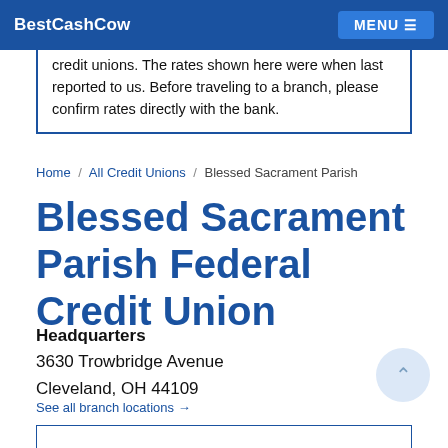BestCashCow | MENU
BestCashCow tracks rates for over 15,000 banks and credit unions. The rates shown here were when last reported to us. Before traveling to a branch, please confirm rates directly with the bank.
Home / All Credit Unions / Blessed Sacrament Parish
Blessed Sacrament Parish Federal Credit Union
Headquarters
3630 Trowbridge Avenue
Cleveland, OH 44109
See all branch locations →